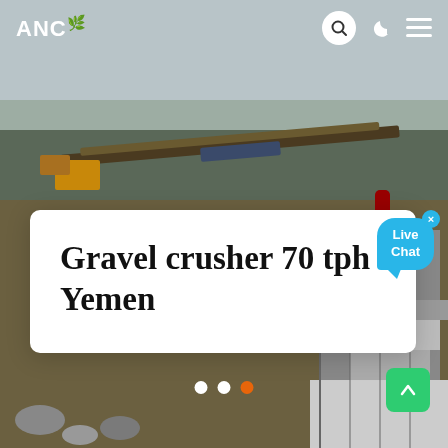[Figure (photo): Aerial/drone view of a gravel crushing industrial site with conveyor belts, machinery, open terrain, bare trees in background, industrial crushing equipment on the right side.]
ANC
Gravel crusher 70 tph Yemen
[Figure (other): Live Chat speech bubble widget in blue with close button (x)]
[Figure (other): Slide pagination dots: two white dots and one orange dot indicating position 3 of 3]
[Figure (other): Green scroll-to-top button with upward arrow icon]